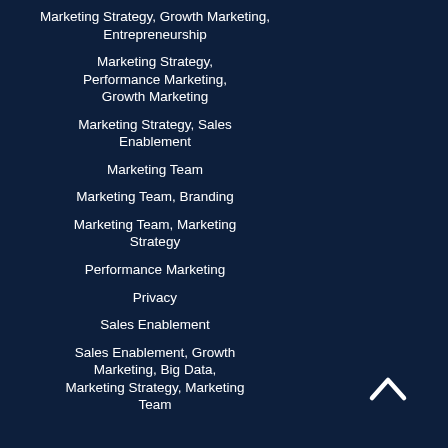Marketing Strategy, Growth Marketing, Entrepreneurship
Marketing Strategy, Performance Marketing, Growth Marketing
Marketing Strategy, Sales Enablement
Marketing Team
Marketing Team, Branding
Marketing Team, Marketing Strategy
Performance Marketing
Privacy
Sales Enablement
Sales Enablement, Growth Marketing, Big Data, Marketing Strategy, Marketing Team
[Figure (illustration): Upward chevron/caret arrow icon in white at bottom right]